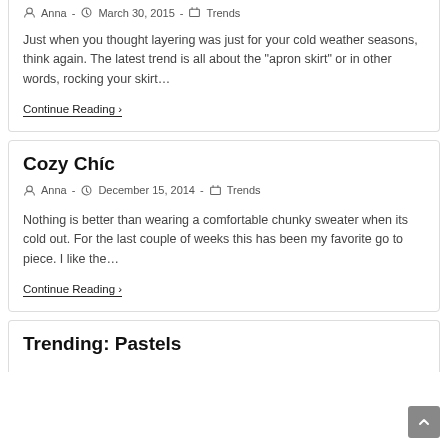Anna · March 30, 2015 · Trends
Just when you thought layering was just for your cold weather seasons, think again. The latest trend is all about the "apron skirt" or in other words, rocking your skirt…
Continue Reading ›
Cozy Chíc
Anna · December 15, 2014 · Trends
Nothing is better than wearing a comfortable chunky sweater when its cold out. For the last couple of weeks this has been my favorite go to piece. I like the…
Continue Reading ›
Trending: Pastels